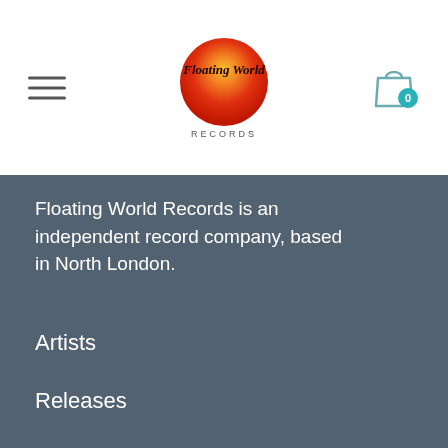[Figure (logo): Floating World Records logo: orange-red circle gradient with 'Floating World' text and 'RECORDS' below]
Floating World Records is an independent record company, based in North London.
Artists
Releases
Discover
Reviews
About
Privacy